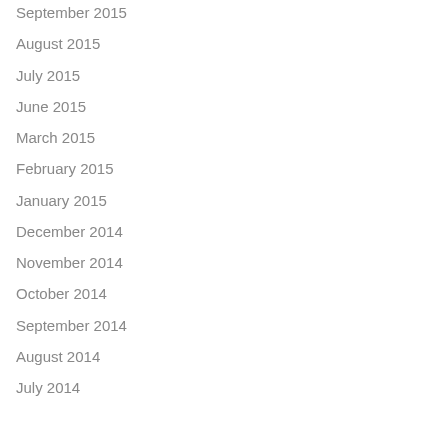September 2015
August 2015
July 2015
June 2015
March 2015
February 2015
January 2015
December 2014
November 2014
October 2014
September 2014
August 2014
July 2014